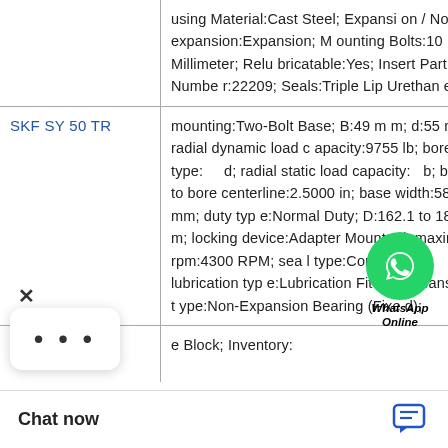| Product | Specifications |
| --- | --- |
|  | using Material:Cast Steel; Expansion / Non-expansion:Expansion; Mounting Bolts:10 Millimeter; Relubricatable:Yes; Insert Part Number:22209; Seals:Triple Lip Urethane; |
| SKF SY 50 TR | mounting:Two-Bolt Base; B:49 mm; d:55 mm; radial dynamic load capacity:9755 lb; bore type:[...]; radial static load capacity:[...] b; base to bore centerline:2.5000 in; base width:58.4 mm; duty type:Normal Duty; D:162.1 to 189 mm; locking device:Adapter Mounted; maximum rpm:4300 RPM; seal type:Contact/Lip; lubrication type:Lubrication Fitting; expansion type:Non-Expansion Bearing (Fixed); |
|  | e Block; Inventory: |
[Figure (other): WhatsApp Online chat button overlay with green circular WhatsApp logo and text 'WhatsApp Online']
[Figure (other): Close (X) button and options menu (three dots) overlay in bottom-left corner]
Chat now